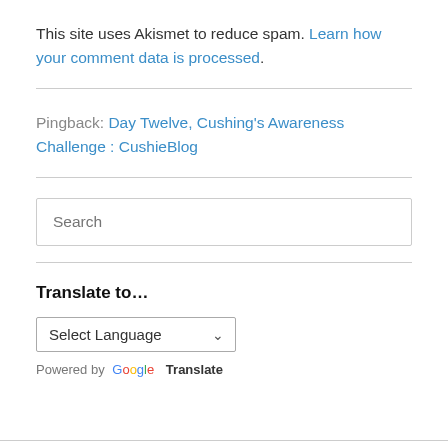This site uses Akismet to reduce spam. Learn how your comment data is processed.
Pingback: Day Twelve, Cushing's Awareness Challenge : CushieBlog
Search
Translate to...
Select Language
Powered by Google Translate